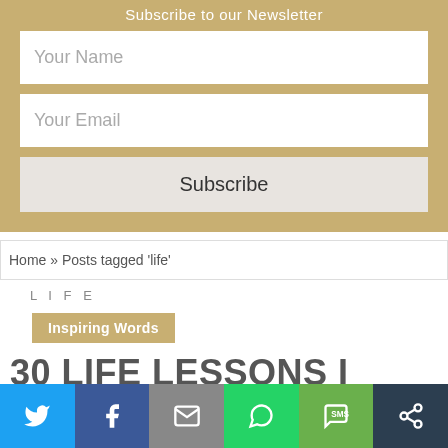Subscribe to our Newsletter
Your Name
Your Email
Subscribe
Home » Posts tagged 'life'
LIFE
Inspiring Words
30 LIFE LESSONS I HAVE
[Figure (infographic): Social share bar with Twitter, Facebook, Email, WhatsApp, SMS, and More buttons]